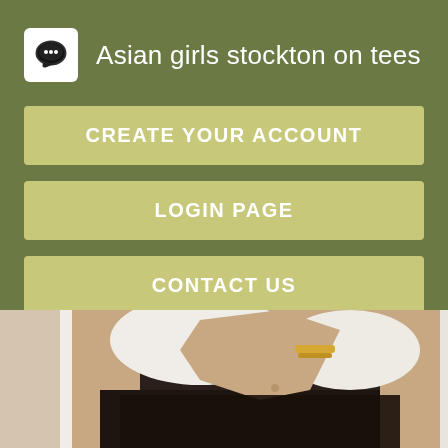Asian girls stockton on tees
CREATE YOUR ACCOUNT
LOGIN PAGE
CONTACT US
[Figure (photo): Cropped photo of a person wearing a black lace top and a fluffy white jacket, with a gold bracelet visible, shown from mid-torso up.]